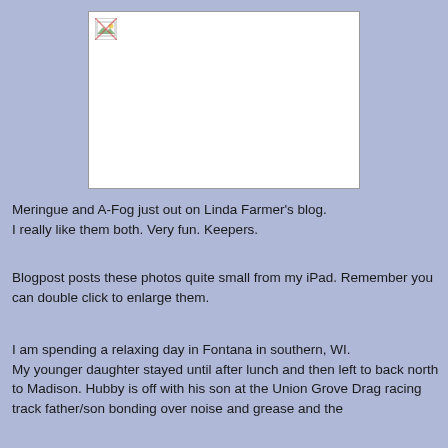[Figure (photo): A broken/missing image placeholder with a small icon in the top-left corner, shown as a white rectangle with a gray border.]
Meringue and A-Fog just out on Linda Farmer's blog.
I really like them both. Very fun. Keepers.
Blogpost posts these photos quite small from my iPad. Remember you can double click to enlarge them.
I am spending a relaxing day in Fontana in southern, WI.
My younger daughter stayed until after lunch and then left to back north to Madison. Hubby is off with his son at the Union Grove Drag racing track father/son bonding over noise and grease and the